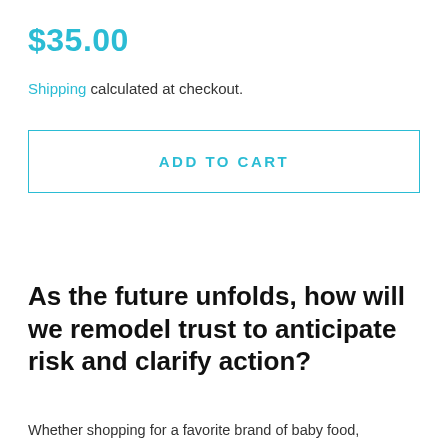$35.00
Shipping calculated at checkout.
ADD TO CART
As the future unfolds, how will we remodel trust to anticipate risk and clarify action?
Whether shopping for a favorite brand of baby food,